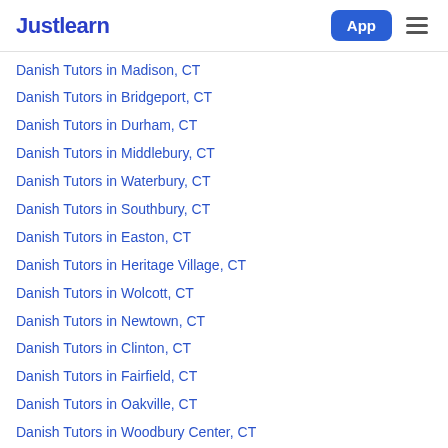Justlearn | App
Danish Tutors in Madison, CT
Danish Tutors in Bridgeport, CT
Danish Tutors in Durham, CT
Danish Tutors in Middlebury, CT
Danish Tutors in Waterbury, CT
Danish Tutors in Southbury, CT
Danish Tutors in Easton, CT
Danish Tutors in Heritage Village, CT
Danish Tutors in Wolcott, CT
Danish Tutors in Newtown, CT
Danish Tutors in Clinton, CT
Danish Tutors in Fairfield, CT
Danish Tutors in Oakville, CT
Danish Tutors in Woodbury Center, CT
Danish Tutors in Woodbury, CT
Danish Tutors in Southport, CT